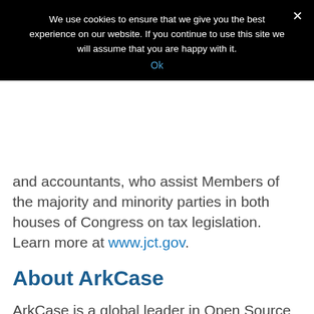We use cookies to ensure that we give you the best experience on our website. If you continue to use this site we will assume that you are happy with it.
Ok
and accountants, who assist Members of the majority and minority parties in both houses of Congress on tax legislation. Learn more at www.jct.gov.
About ArkCase
ArkCase is a global leader in Open Source and enterprise case management technology and provides a highly configurable, secure and compliant platform. This